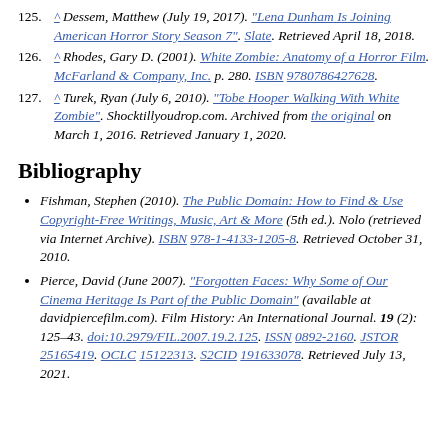125. ^ Dessem, Matthew (July 19, 2017). "Lena Dunham Is Joining American Horror Story Season 7". Slate. Retrieved April 18, 2018.
126. ^ Rhodes, Gary D. (2001). White Zombie: Anatomy of a Horror Film. McFarland & Company, Inc. p. 280. ISBN 9780786427628.
127. ^ Turek, Ryan (July 6, 2010). "Tobe Hooper Walking With White Zombie". Shocktillyoudrop.com. Archived from the original on March 1, 2016. Retrieved January 1, 2020.
Bibliography
Fishman, Stephen (2010). The Public Domain: How to Find & Use Copyright-Free Writings, Music, Art & More (5th ed.). Nolo (retrieved via Internet Archive). ISBN 978-1-4133-1205-8. Retrieved October 31, 2010.
Pierce, David (June 2007). "Forgotten Faces: Why Some of Our Cinema Heritage Is Part of the Public Domain" (available at davidpiercefilm.com). Film History: An International Journal. 19 (2): 125–43. doi:10.2979/FIL.2007.19.2.125. ISSN 0892-2160. JSTOR 25165419. OCLC 15122313. S2CID 191633078. Retrieved July 13, 2021.